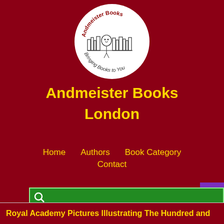[Figure (logo): Andmeister Books circular logo with hand-drawn illustration of books and a face, text reading 'Andmeister Books' at top and 'Bringing Books to You' at bottom]
Andmeister Books
London
Home   Authors   Book Category   Contact
[Figure (other): Green search bar with magnifying glass icon and purple scroll-to-top button with upward arrow]
Royal Academy Pictures Illustrating The Hundred and